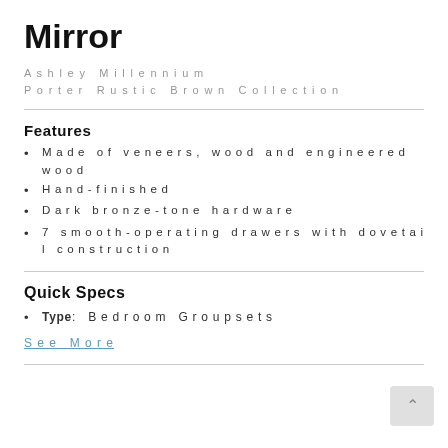Mirror
Ashley Millennium
Porter Rustic Brown Collection
Features
Made of veneers, wood and engineered wood
Hand-finished
Dark bronze-tone hardware
7 smooth-operating drawers with dovetail construction
Quick Specs
Type: Bedroom Groupsets
See More